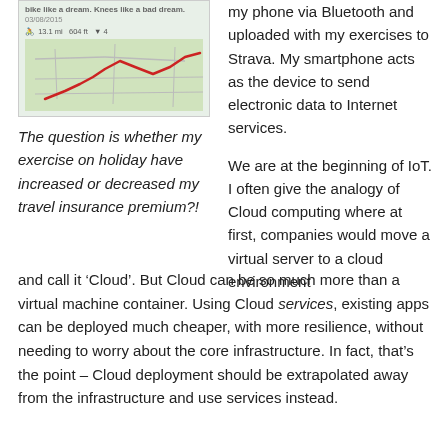[Figure (screenshot): Strava app screenshot showing a cycling activity: title text 'bike like a dream. Knees like a bad dream.', date 03/08/2015, distance 13.1 mi, elevation 604 ft, 4 kudos, and a map with a red route trace on a green/grey background.]
The question is whether my exercise on holiday have increased or decreased my travel insurance premium?!
my phone via Bluetooth and uploaded with my exercises to Strava. My smartphone acts as the device to send electronic data to Internet services.
We are at the beginning of IoT. I often give the analogy of Cloud computing where at first, companies would move a virtual server to a cloud environment and call it ‘Cloud’. But Cloud can be so much more than a virtual machine container. Using Cloud services, existing apps can be deployed much cheaper, with more resilience, without needing to worry about the core infrastructure. In fact, that’s the point – Cloud deployment should be extrapolated away from the infrastructure and use services instead.